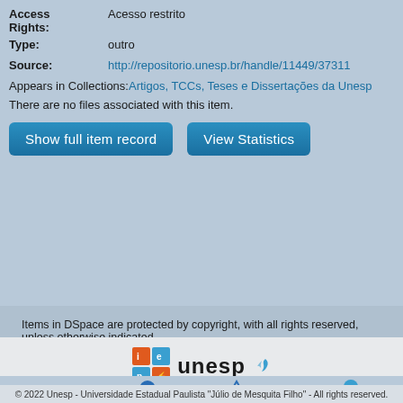Access Rights: Acesso restrito
Type: outro
Source: http://repositorio.unesp.br/handle/11449/37311
Appears in Collections: Artigos, TCCs, Teses e Dissertações da Unesp
There are no files associated with this item.
Show full item record | View Statistics
Items in DSpace are protected by copyright, with all rights reserved, unless otherwise indicated.
[Figure (logo): IEP and Unesp logos]
[Figure (logo): Partner institution logos row]
© 2022 Unesp - Universidade Estadual Paulista "Júlio de Mesquita Filho" - All rights reserved.